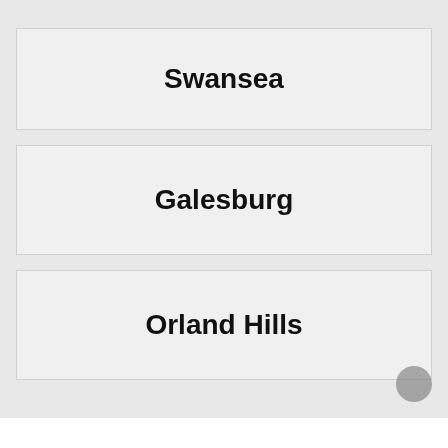Swansea
Galesburg
Orland Hills